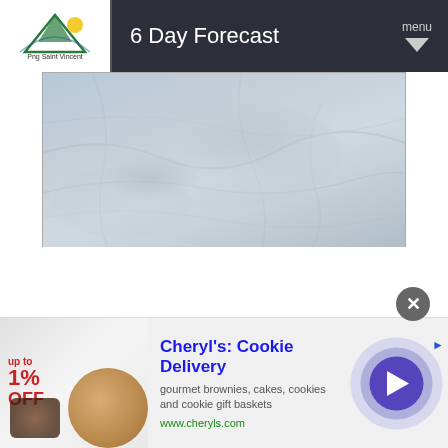6 Day Forecast
[Figure (map): Blurred aerial/satellite map image used as background for weather forecast page]
[Figure (photo): Advertisement image showing baked goods with sale tag 'up to 1% OFF']
Cheryl's: Cookie Delivery
gourmet brownies, cakes, cookies and cookie gift baskets
www.cheryls.com